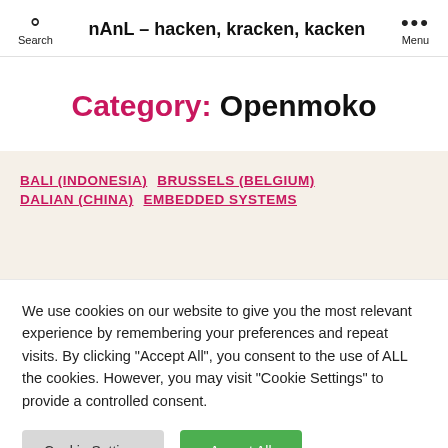nAnL - hacken, kracken, kacken | Search | Menu
Category: Openmoko
BALI (INDONESIA)  BRUSSELS (BELGIUM)  DALIAN (CHINA)  EMBEDDED SYSTEMS
We use cookies on our website to give you the most relevant experience by remembering your preferences and repeat visits. By clicking "Accept All", you consent to the use of ALL the cookies. However, you may visit "Cookie Settings" to provide a controlled consent.
Cookie Settings | Accept All